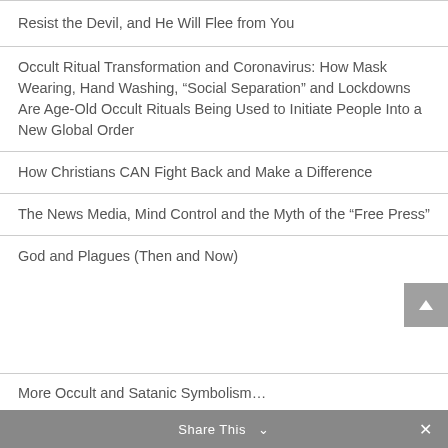Resist the Devil, and He Will Flee from You
Occult Ritual Transformation and Coronavirus: How Mask Wearing, Hand Washing, “Social Separation” and Lockdowns Are Age-Old Occult Rituals Being Used to Initiate People Into a New Global Order
How Christians CAN Fight Back and Make a Difference
The News Media, Mind Control and the Myth of the “Free Press”
God and Plagues (Then and Now)
More Occult and Satanic Symbolism…
Share This ∨  ×